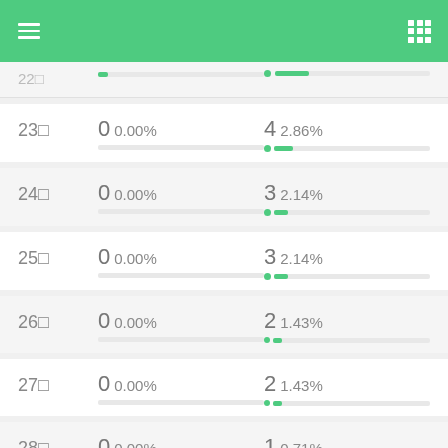App navigation header
| # | Col A | Col B |
| --- | --- | --- |
| 23□ | 0 0.00% | 4 2.86% |
| 24□ | 0 0.00% | 3 2.14% |
| 25□ | 0 0.00% | 3 2.14% |
| 26□ | 0 0.00% | 2 1.43% |
| 27□ | 0 0.00% | 2 1.43% |
| 28□ | 0 0.00% | 1 0.71% |